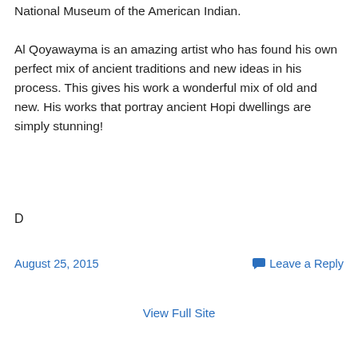National Museum of the American Indian.
Al Qoyawayma is an amazing artist who has found his own perfect mix of ancient traditions and new ideas in his process. This gives his work a wonderful mix of old and new. His works that portray ancient Hopi dwellings are simply stunning!
D
August 25, 2015
Leave a Reply
View Full Site